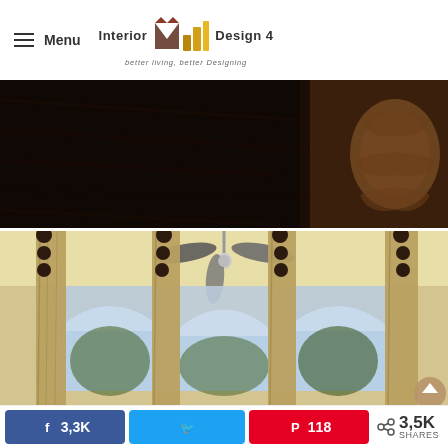Menu | Interior Design 4 — better living, better Designing
[Figure (photo): Close-up of dark wood ceiling/furniture detail with decorative carved element visible]
[Figure (photo): Interior room with arched bay windows, tan/beige curtains with decorative ball finials, ceiling fan, and yellow walls]
3,3K  [Twitter share]  118  < 3,5K SHARES